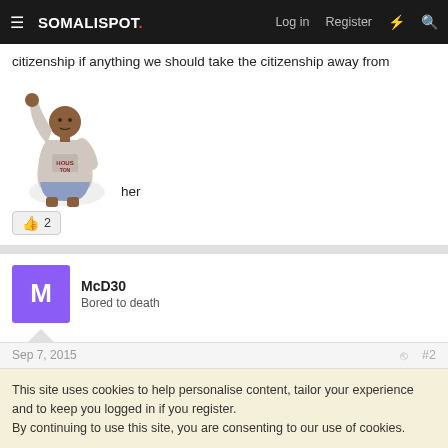SOMALISPOT. Log in Register
citizenship if anything we should take the citizenship away from her
[Figure (illustration): Basketball player raising one arm, wearing a Houston jersey]
👍 2
McD30
Bored to death
Sep 7, 2015
#2
This site uses cookies to help personalise content, tailor your experience and to keep you logged in if you register.
By continuing to use this site, you are consenting to our use of cookies.
✓ Accept   Learn more…